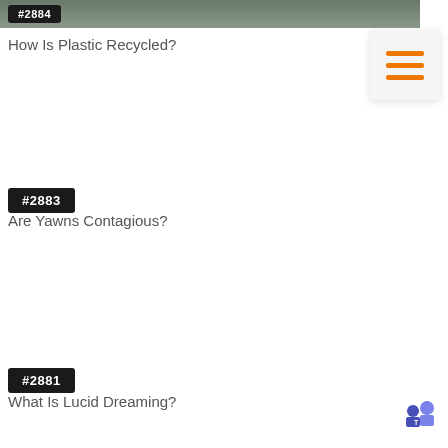[Figure (photo): Partial top image showing people, cropped at top of page with badge #2884]
How Is Plastic Recycled?
[Figure (other): Hamburger menu icon with three orange horizontal lines on light grey background]
#2883
Are Yawns Contagious?
#2881
What Is Lucid Dreaming?
[Figure (logo): Microsoft Teams logo icon, blue and purple]